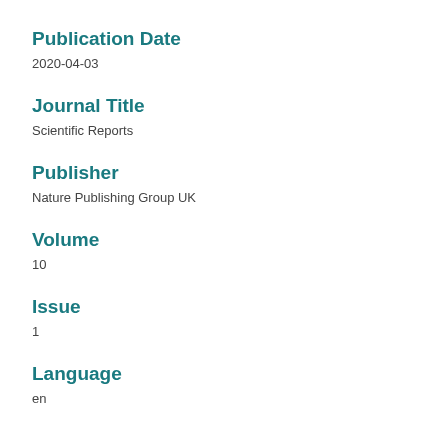Publication Date
2020-04-03
Journal Title
Scientific Reports
Publisher
Nature Publishing Group UK
Volume
10
Issue
1
Language
en